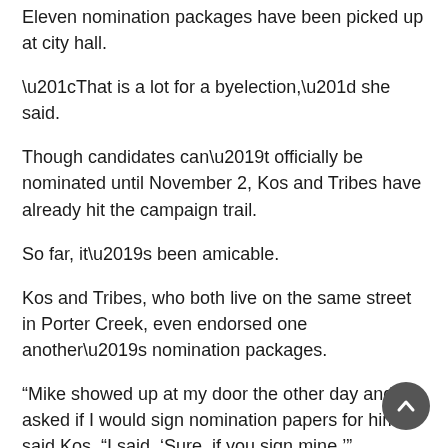Eleven nomination packages have been picked up at city hall.
“That is a lot for a byelection,” she said.
Though candidates can’t officially be nominated until November 2, Kos and Tribes have already hit the campaign trail.
So far, it’s been amicable.
Kos and Tribes, who both live on the same street in Porter Creek, even endorsed one another’s nomination packages.
“Mike showed up at my door the other day and asked if I would sign nomination papers for him,” said Kos. “I said, ‘Sure, if you sign mine.’”